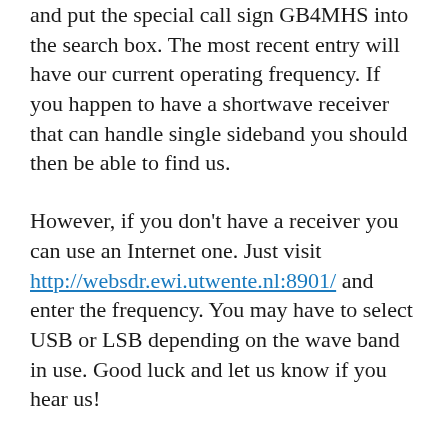and put the special call sign GB4MHS into the search box. The most recent entry will have our current operating frequency. If you happen to have a shortwave receiver that can handle single sideband you should then be able to find us.
However, if you don't have a receiver you can use an Internet one. Just visit http://websdr.ewi.utwente.nl:8901/ and enter the frequency. You may have to select USB or LSB depending on the wave band in use. Good luck and let us know if you hear us!
See https://www.hsm.ox.ac.uk/marconi-day-0 for more details.